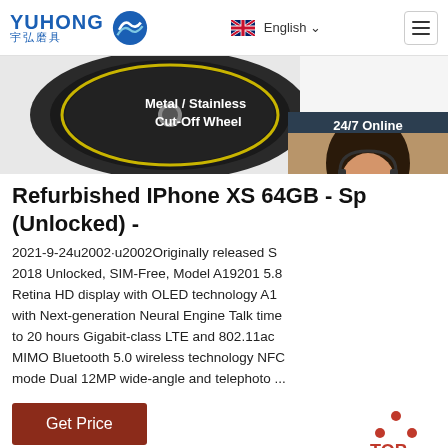YUHONG 宇弘磨具 | English | Navigation
[Figure (photo): Metal/Stainless Cut-Off Wheel product image (circular grinding disc, dark background with yellow ring detail), with 24/7 Online chat widget showing a customer service representative wearing a headset]
Refurbished IPhone XS 64GB - Sp (Unlocked) -
2021-9-24u2002·u2002Originally released S 2018 Unlocked, SIM-Free, Model A19201 5.8 Retina HD display with OLED technology A1 with Next-generation Neural Engine Talk time to 20 hours Gigabit-class LTE and 802.11ac MIMO Bluetooth 5.0 wireless technology NFC mode Dual 12MP wide-angle and telephoto ...
Get Price
[Figure (other): TOP navigation button with red dots arranged in triangle and red TOP text]